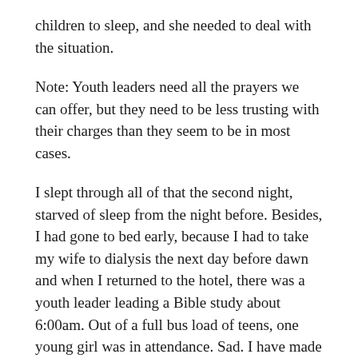children to sleep, and she needed to deal with the situation.
Note: Youth leaders need all the prayers we can offer, but they need to be less trusting with their charges than they seem to be in most cases.
I slept through all of that the second night, starved of sleep from the night before. Besides, I had gone to bed early, because I had to take my wife to dialysis the next day before dawn and when I returned to the hotel, there was a youth leader leading a Bible study about 6:00am. Out of a full bus load of teens, one young girl was in attendance. Sad. I have made a note to never visit their church. I wonder how many others might agree, unless it would be to evangelize.